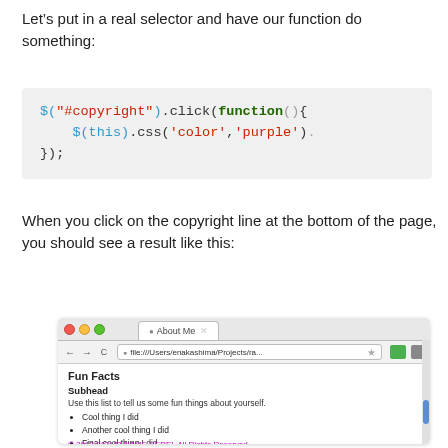Let’s put in a real selector and have our function do something:
[Figure (screenshot): Code block showing jQuery: $("#copyright").click(function(){ $(this).css('color','purple')  });]
When you click on the copyright line at the bottom of the page, you should see a result like this:
[Figure (screenshot): Browser screenshot showing a webpage with Fun Facts section, Subhead, a description, bullet list items (Cool thing I did, Another cool thing I did, Final cool thing I did), and a purple copyright line: © 2012 [YOUR NAME HERE], All Rights Reserved.]